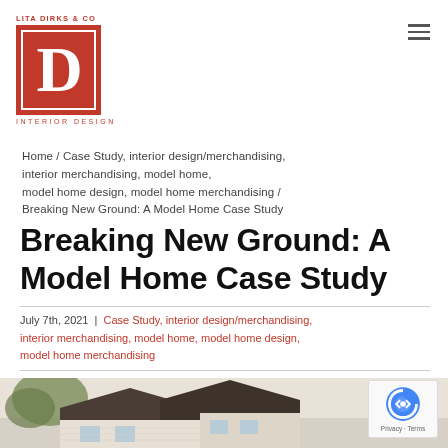LITA DIRKS & CO — Interior Design logo
Home / Case Study, interior design/merchandising, interior merchandising, model home, model home design, model home merchandising / Breaking New Ground: A Model Home Case Study
Breaking New Ground: A Model Home Case Study
July 7th, 2021 | Case Study, interior design/merchandising, interior merchandising, model home, model home design, model home merchandising
[Figure (photo): Exterior photo of a model home showing roof and architectural detail, partially visible at bottom of page]